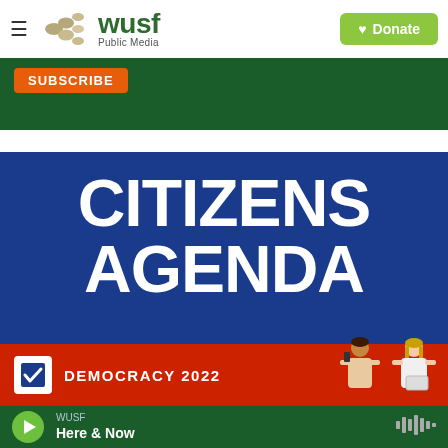[Figure (logo): WUSF Public Media logo with decorative circle cluster and green wordmark, plus Donate button]
[Figure (screenshot): Dark green banner with orange SUBSCRIBE button]
[Figure (infographic): Citizens Agenda graphic: dark blue background with large white bold text CITIZENS AGENDA, red bottom strip with checkbox icon, text DEMOCRACY 2022, and illustrated figures of two people]
[Figure (screenshot): Audio player bar: green play button, WUSF label, Here & Now title, waveform icon]